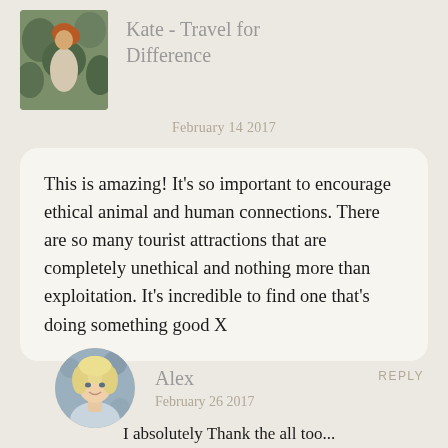Kate - Travel for Difference
February 14 2017
This is amazing! It’s so important to encourage ethical animal and human connections. There are so many tourist attractions that are completely unethical and nothing more than exploitation. It’s incredible to find one that’s doing something good X
REPLY
Alex
February 26 2017